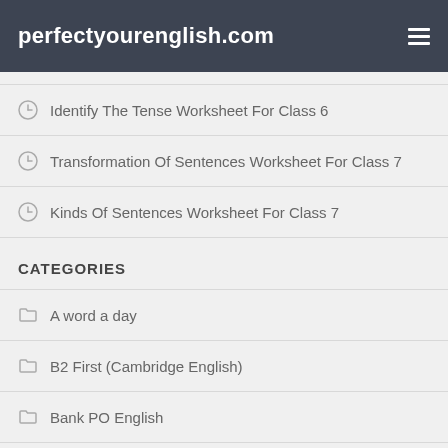perfectyourenglish.com
Identify The Tense Worksheet For Class 6
Transformation Of Sentences Worksheet For Class 7
Kinds Of Sentences Worksheet For Class 7
CATEGORIES
A word a day
B2 First (Cambridge English)
Bank PO English